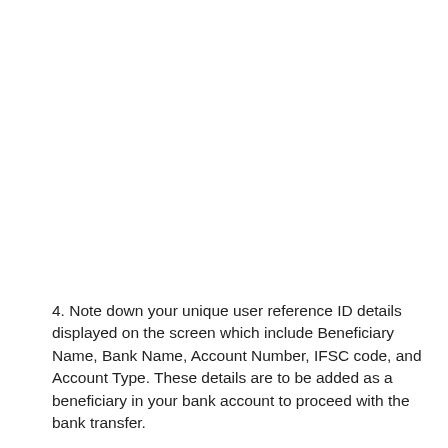4. Note down your unique user reference ID details displayed on the screen which include Beneficiary Name, Bank Name, Account Number, IFSC code, and Account Type. These details are to be added as a beneficiary in your bank account to proceed with the bank transfer.